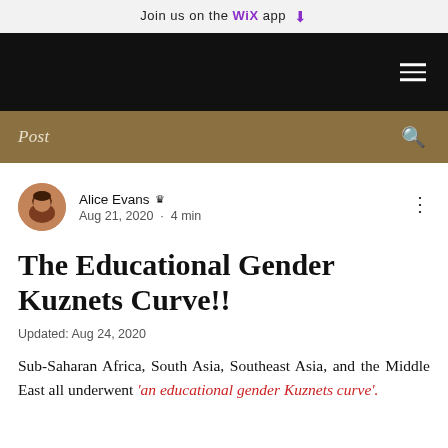Join us on the WiX app
[Figure (screenshot): Black navigation bar with hamburger menu icon on the right]
[Figure (screenshot): Tan/khaki bar with 'Post' label on the left and search icon on the right]
Alice Evans · Aug 21, 2020 · 4 min
The Educational Gender Kuznets Curve!!
Updated: Aug 24, 2020
Sub-Saharan Africa, South Asia, Southeast Asia, and the Middle East all underwent 'an educational gender Kuznets curve'.